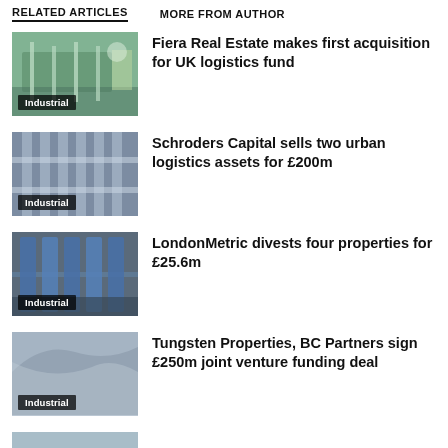RELATED ARTICLES   MORE FROM AUTHOR
Fiera Real Estate makes first acquisition for UK logistics fund
Schroders Capital sells two urban logistics assets for £200m
LondonMetric divests four properties for £25.6m
Tungsten Properties, BC Partners sign £250m joint venture funding deal